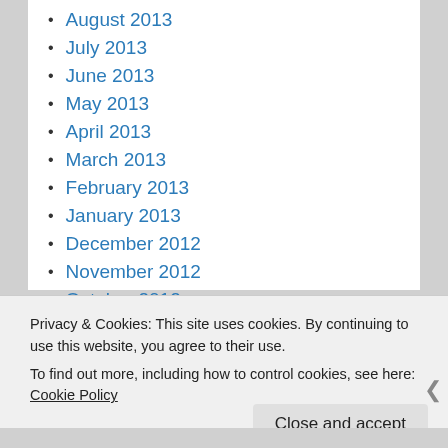August 2013
July 2013
June 2013
May 2013
April 2013
March 2013
February 2013
January 2013
December 2012
November 2012
October 2012
September 2012
August 2012
Privacy & Cookies: This site uses cookies. By continuing to use this website, you agree to their use.
To find out more, including how to control cookies, see here: Cookie Policy
Close and accept